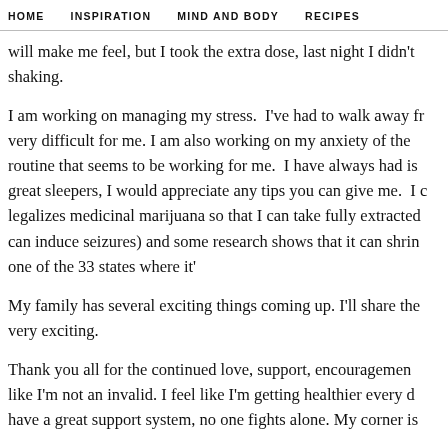HOME   INSPIRATION   MIND AND BODY   RECIPES
will make me feel, but I took the extra dose, last night I didn't shaking.
I am working on managing my stress. I've had to walk away fr very difficult for me. I am also working on my anxiety of the routine that seems to be working for me. I have always had is great sleepers, I would appreciate any tips you can give me. I c legalizes medicinal marijuana so that I can take fully extracted can induce seizures) and some research shows that it can shri one of the 33 states where it'
My family has several exciting things coming up. I'll share th very exciting.
Thank you all for the continued love, support, encouragemen like I'm not an invalid. I feel like I'm getting healthier every d have a great support system, no one fights alone. My corner is